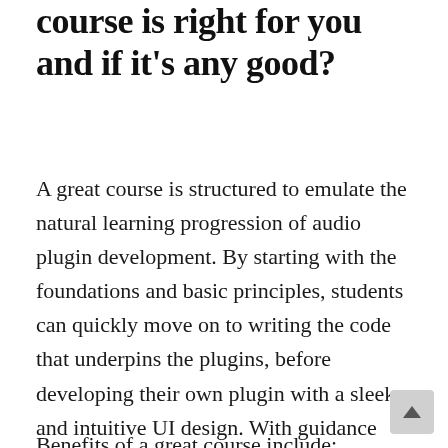course is right for you and if it's any good?
A great course is structured to emulate the natural learning progression of audio plugin development. By starting with the foundations and basic principles, students can quickly move on to writing the code that underpins the plugins, before developing their own plugin with a sleek and intuitive UI design. With guidance from respected software engineers, students can be assured that the course content is relevant and reflects current industry standards.
Benefits of a great course include: